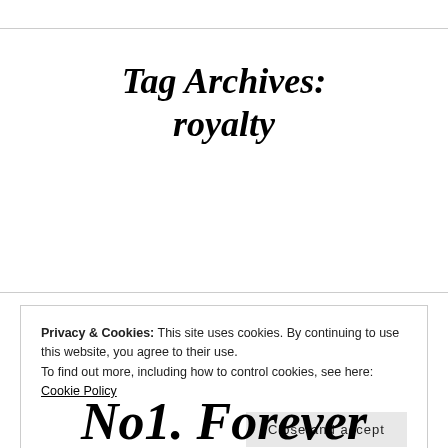Tag Archives: royalty
Privacy & Cookies: This site uses cookies. By continuing to use this website, you agree to their use.
To find out more, including how to control cookies, see here: Cookie Policy
Close and accept
No1. Forever